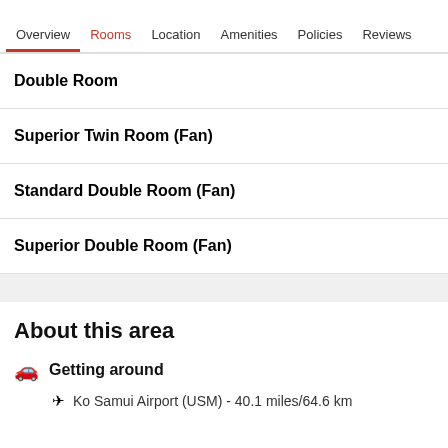Overview | Rooms | Location | Amenities | Policies | Reviews
Double Room
Superior Twin Room (Fan)
Standard Double Room (Fan)
Superior Double Room (Fan)
About this area
Getting around
Ko Samui Airport (USM) - 40.1 miles/64.6 km